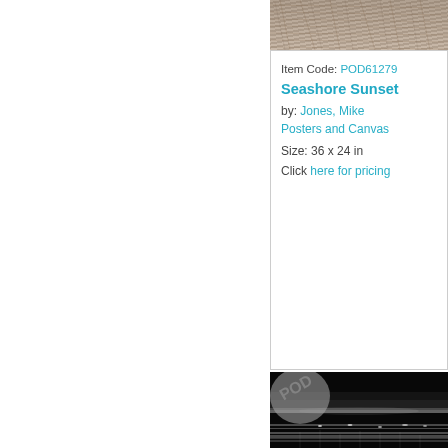[Figure (photo): Partial view of a photo at the top right, showing a textured fur or animal coat in sepia/brown tones.]
Item Code: POD61279
Seashore Sunset
by: Jones, Mike
Posters and Canvas
Size: 36 x 24 in
Click here for pricing
[Figure (photo): A black and white night-time seascape or cityscape photo with light streaks and glowing horizontal bands, with a POD watermark stamp in the upper left corner.]